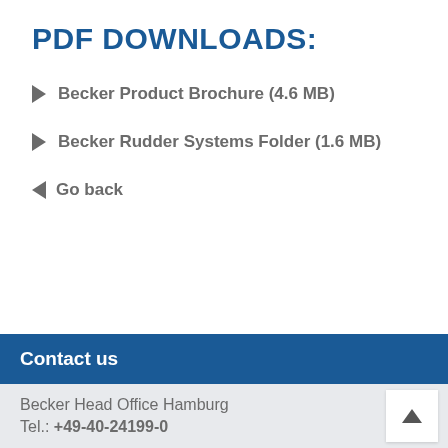PDF DOWNLOADS:
Becker Product Brochure (4.6 MB)
Becker Rudder Systems Folder (1.6 MB)
Go back
Contact us
Becker Head Office Hamburg
Tel.: +49-40-24199-0